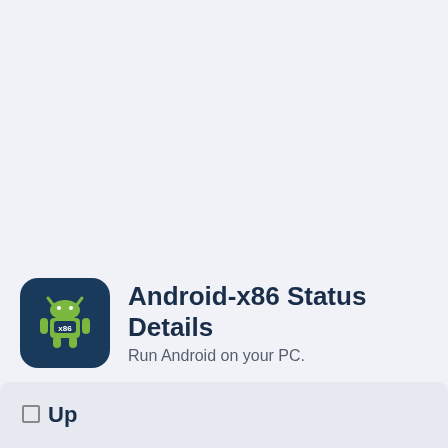[Figure (logo): Android-x86 app icon: dark navy rounded square with green Android robot holding x86 label]
Android-x86 Status Details
Run Android on your PC.
Up